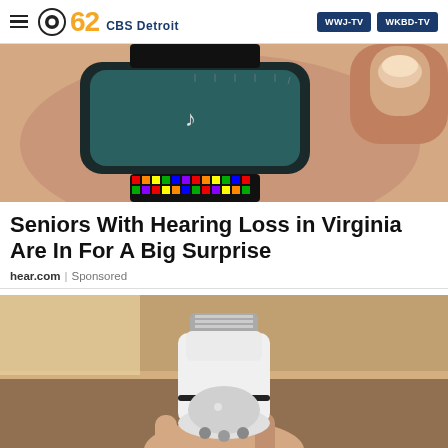CBS 62 CBS Detroit | WWJ-TV | WKBD-TV
[Figure (photo): Close-up photo of a smartwatch on a wrist with a colorful beaded band, showing a teal screen with a music note icon.]
Seniors With Hearing Loss in Virginia Are In For A Big Surprise
hear.com | Sponsored
[Figure (photo): Photo of a hand holding a white light bulb-shaped security camera device with LED lights at the bottom.]